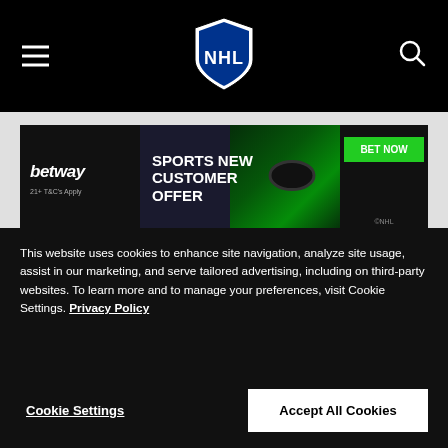NHL navigation bar with hamburger menu, NHL logo, and search icon
[Figure (other): Betway sports betting advertisement banner: 'SPORTS NEW CUSTOMER OFFER' with BET NOW button and hockey imagery. 21+ T&C's Apply. ©NHL]
News
Jason Arnott News
This website uses cookies to enhance site navigation, analyze site usage, assist in our marketing, and serve tailored advertising, including on third-party websites. To learn more and to manage your preferences, visit Cookie Settings. Privacy Policy
Cookie Settings
Accept All Cookies